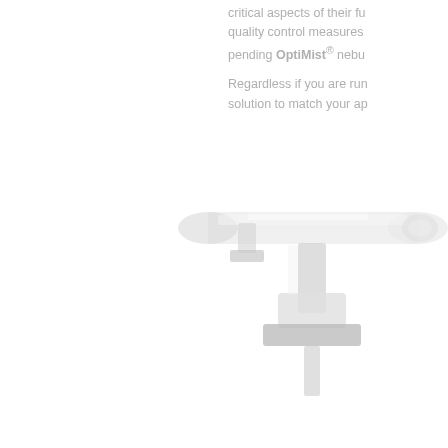critical aspects of their fu... quality control measures... pending OptiMist® nebu...
Regardless if you are run... solution to match your ap...
[Figure (photo): Close-up photo of a clear plastic nebulizer device component, partially visible in the lower-right portion of the page, showing a transparent cylindrical body with a white base connector, on a white background.]